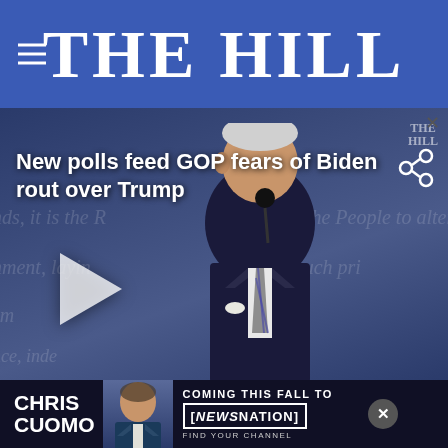THE HILL
[Figure (screenshot): Video thumbnail showing Joe Biden at a debate podium, with overlay title 'New polls feed GOP fears of Biden rout over Trump' and a share icon. The Hill watermark visible in top right. Play button visible on left side.]
Republicans — many of whom were appalled by the president's debate showing on Tuesday — are growing worried that Trump will lose in a rout
[Figure (infographic): Advertisement banner for Chris Cuomo 'Coming This Fall To NewsNation - Find Your Channel']